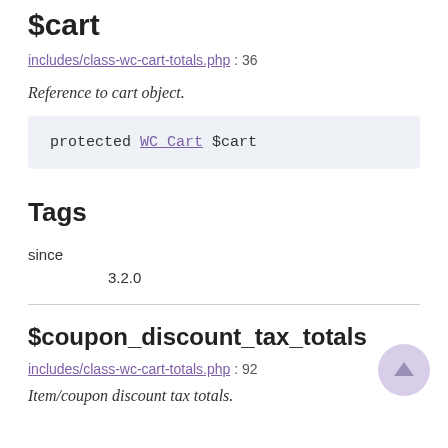$cart
includes/class-wc-cart-totals.php : 36
Reference to cart object.
Tags
since
3.2.0
$coupon_discount_tax_totals
includes/class-wc-cart-totals.php : 92
Item/coupon discount tax totals.